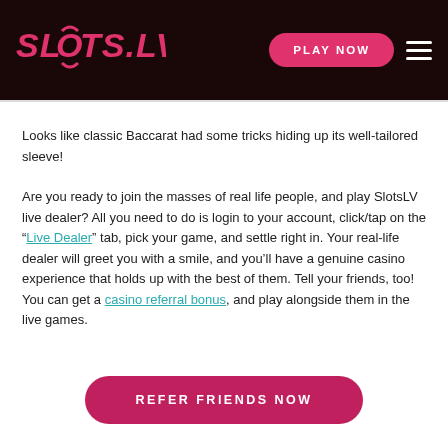SLOTS.LV | PLAY NOW
Looks like classic Baccarat had some tricks hiding up its well-tailored sleeve!
Are you ready to join the masses of real life people, and play SlotsLV live dealer? All you need to do is login to your account, click/tap on the “Live Dealer” tab, pick your game, and settle right in. Your real-life dealer will greet you with a smile, and you’ll have a genuine casino experience that holds up with the best of them. Tell your friends, too! You can get a casino referral bonus, and play alongside them in the live games.
REFER FRIENDS NOW